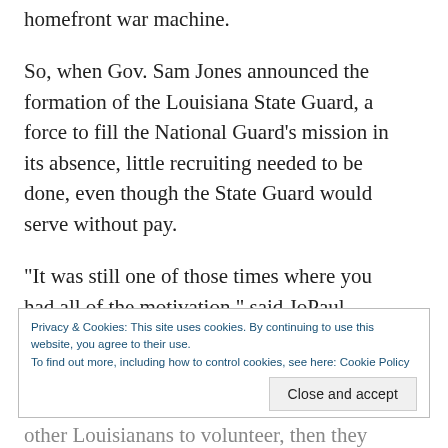homefront war machine.
So, when Gov. Sam Jones announced the formation of the Louisiana State Guard, a force to fill the National Guard’s mission in its absence, little recruiting needed to be done, even though the State Guard would serve without pay.
“It was still one of those times where you had all of the motivation,” said JoPaul Steiner, who joined. “You wanted to serve your country. You wanted to do anything you could.”
Privacy & Cookies: This site uses cookies. By continuing to use this website, you agree to their use.
To find out more, including how to control cookies, see here: Cookie Policy
Close and accept
other Louisianans to volunteer, then they notes are the service could not be in swelling riots or